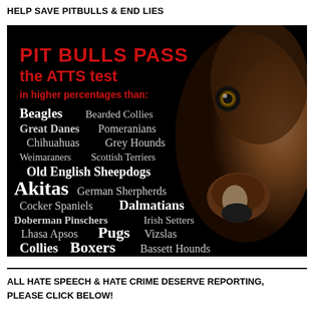HELP SAVE PITBULLS & END LIES
[Figure (infographic): Black background infographic with a close-up photo of a pit bull dog on the right side. Text on the left states 'PIT BULLS PASS the ATTS test in higher percentages than:' followed by a list of dog breeds: Beagles, Bearded Collies, Great Danes, Pomeranians, Chihuahuas, Grey Hounds, Weimaraners, Scottish Terriers, Old English Sheepdogs, Akitas, German Sherpherds, Cocker Spaniels, Dalmatians, Doberman Pinschers, Irish Setters, Lhasa Apsos, Pugs, Vizslas, Collies, Boxers, Bassett Hounds]
ALL HATE SPEECH & HATE CRIME DESERVE REPORTING, PLEASE CLICK BELOW!